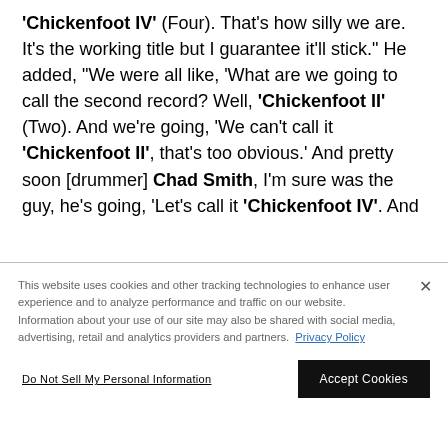'Chickenfoot IV' (Four). That's how silly we are. It's the working title but I guarantee it'll stick." He added, "We were all like, 'What are we going to call the second record? Well, 'Chickenfoot II' (Two). And we're going, 'We can't call it 'Chickenfoot II', that's too obvious.' And pretty soon [drummer] Chad Smith, I'm sure was the guy, he's going, 'Let's call it 'Chickenfoot IV'. And
This website uses cookies and other tracking technologies to enhance user experience and to analyze performance and traffic on our website. Information about your use of our site may also be shared with social media, advertising, retail and analytics providers and partners. Privacy Policy
Do Not Sell My Personal Information
Accept Cookies